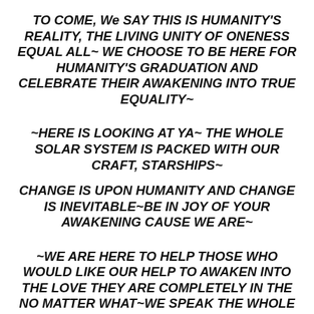TO COME, We SAY THIS IS HUMANITY'S REALITY, THE LIVING UNITY OF ONENESS EQUAL ALL~ WE CHOOSE TO BE HERE FOR HUMANITY'S GRADUATION AND CELEBRATE THEIR AWAKENING INTO TRUE EQUALITY~
~HERE IS LOOKING AT YA~ THE WHOLE SOLAR SYSTEM IS PACKED WITH OUR CRAFT, STARSHIPS~
CHANGE IS UPON HUMANITY AND CHANGE IS INEVITABLE~BE IN JOY OF YOUR AWAKENING CAUSE WE ARE~
~WE ARE HERE TO HELP THOSE WHO WOULD LIKE OUR HELP TO AWAKEN INTO THE LOVE THEY ARE COMPLETELY IN THE NO MATTER WHAT~WE SPEAK THE WHOLE TRUTH, FOR THROUGH WHOLE TRUTH